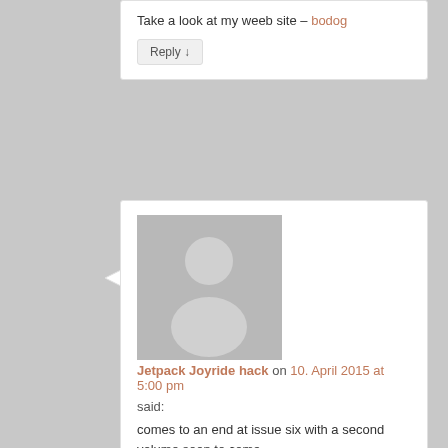Take a look at my weeb site – bodog
Reply ↓
[Figure (illustration): Generic avatar placeholder image showing a silhouette of a person on a grey background]
Jetpack Joyride hack on 10. April 2015 at 5:00 pm said:
comes to an end at issue six with a second volume soon to come.
Nick Spencer continues his quest to write every comic
available with the first two issues of Iron Man 2.
ULTIMATE COMICS SPIDER-MAN #160 SPOILER BAGLEY VAR DOSM $3.
Reply ↓